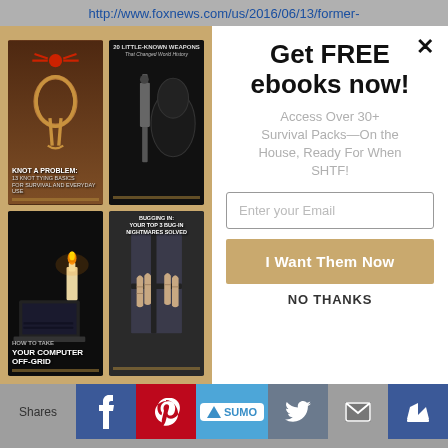http://www.foxnews.com/us/2016/06/13/former-
[Figure (illustration): Four book covers arranged in a 2x2 grid on a tan/gold background: 1) 'Knot a Problem: 13 Knot Tying Basics for Survival and Everyday Use' with rope imagery, 2) '20 Little-Known Weapons That Changed World History' with dark armor/weapon imagery, 3) 'How to Take Your Computer Off-Grid' with candle and laptop imagery, 4) 'Bugging In: Your Top 3 Bug-In Nightmares Solved' with hands gripping bars imagery]
Get FREE ebooks now!
Access Over 30+ Survival Packs—On the House, Ready For When SHTF!
Enter your Email
I Want Them Now
NO THANKS
Shares  [Facebook] [Pinterest] [SUMO] [Twitter] [Email] [Crown]